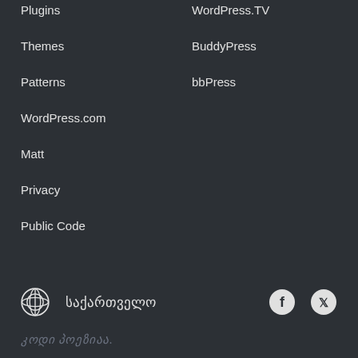Plugins
WordPress.TV
Themes
BuddyPress
Patterns
bbPress
WordPress.com
Matt
Privacy
Public Code
საქართველო
კოდი პოეზიაა.